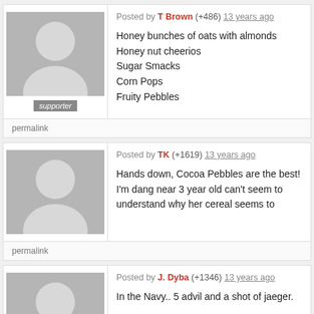Posted by T Brown (+486) 13 years ago
Honey bunches of oats with almonds
Honey nut cheerios
Sugar Smacks
Corn Pops
Fruity Pebbles
permalink
Posted by TK (+1619) 13 years ago
Hands down, Cocoa Pebbles are the best! I'm dang near 3 year old can't seem to understand why her cereal seems to
permalink
Posted by J. Dyba (+1346) 13 years ago
In the Navy.. 5 advil and a shot of jaeger.